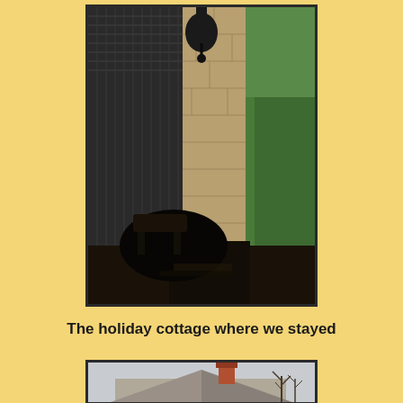[Figure (photo): Photograph of a historic stone bridge with iron/metal lattice railing, viewed looking through the bridge passage. The scene shows a narrow channel between a dark metal structure on the left and a tall stone wall with greenery/trees on the right. Dark water or shadow visible beneath the arch.]
The holiday cottage where we stayed
[Figure (photo): Partial photograph of a holiday cottage, showing the roofline with a chimney and some bare trees in the background against a light sky.]